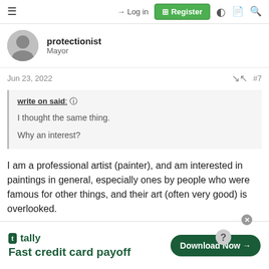≡   → Log in   ⊞ Register
protectionist
Mayor
Jun 23, 2022   #7
write on said: ↑

I thought the same thing.

Why an interest?
I am a professional artist (painter), and am interested in paintings in general, especially ones by people who were famous for other things, and their art (often very good) is overlooked.
[Figure (infographic): Tally app advertisement: 'Fast credit card payoff' with Download Now button]